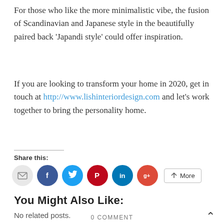For those who like the more minimalistic vibe, the fusion of Scandinavian and Japanese style in the beautifully paired back 'Japandi style' could offer inspiration.
If you are looking to transform your home in 2020, get in touch at http://www.lishinteriordesign.com and let's work together to bring the personality home.
Share this:
[Figure (infographic): Social sharing icons: email (grey), Facebook (blue), Twitter (cyan), Pinterest (red), LinkedIn (dark blue), Google+ (orange-red), and a More button]
You Might Also Like:
No related posts.
0 COMMENT